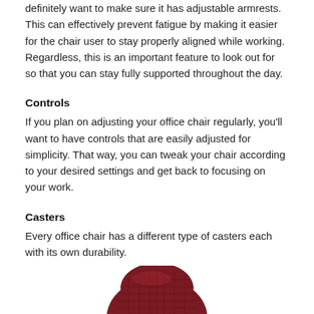definitely want to make sure it has adjustable armrests. This can effectively prevent fatigue by making it easier for the chair user to stay properly aligned while working. Regardless, this is an important feature to look out for so that you can stay fully supported throughout the day.
Controls
If you plan on adjusting your office chair regularly, you'll want to have controls that are easily adjusted for simplicity. That way, you can tweak your chair according to your desired settings and get back to focusing on your work.
Casters
Every office chair has a different type of casters each with its own durability.
[Figure (photo): A dark red/maroon office chair viewed from above, showing the mesh seat back top, partially cropped at the bottom of the page.]